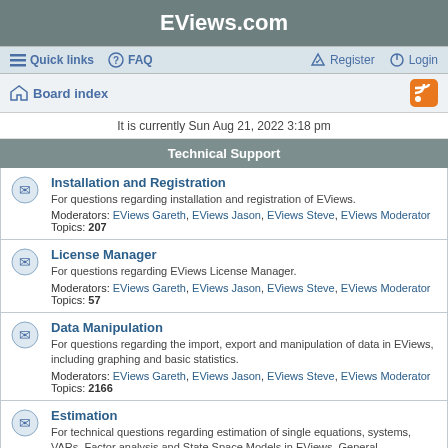EViews.com
Quick links  FAQ  Register  Login
Board index
It is currently Sun Aug 21, 2022 3:18 pm
Technical Support
Installation and Registration
For questions regarding installation and registration of EViews.
Moderators: EViews Gareth, EViews Jason, EViews Steve, EViews Moderator
Topics: 207
License Manager
For questions regarding EViews License Manager.
Moderators: EViews Gareth, EViews Jason, EViews Steve, EViews Moderator
Topics: 57
Data Manipulation
For questions regarding the import, export and manipulation of data in EViews, including graphing and basic statistics.
Moderators: EViews Gareth, EViews Jason, EViews Steve, EViews Moderator
Topics: 2166
Estimation
For technical questions regarding estimation of single equations, systems, VARs, Factor analysis and State Space Models in EViews. General econometric questions and advice should go in the Econometric Discussions forum.
Moderators: EViews Gareth, EViews Moderator
Topics: 3953